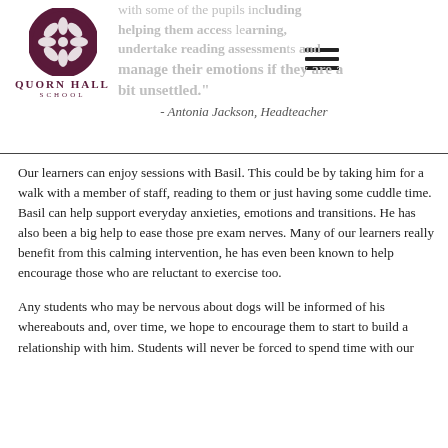[Figure (logo): Quorn Hall School logo: circular ornamental emblem above text QUORN HALL SCHOOL]
with some of the pupils including helping them access learning, undertake reading assessments and manage their emotions if they are a bit unsettled." - Antonia Jackson, Headteacher
Our learners can enjoy sessions with Basil. This could be by taking him for a walk with a member of staff, reading to them or just having some cuddle time. Basil can help support everyday anxieties, emotions and transitions. He has also been a big help to ease those pre exam nerves. Many of our learners really benefit from this calming intervention, he has even been known to help encourage those who are reluctant to exercise too.
Any students who may be nervous about dogs will be informed of his whereabouts and, over time, we hope to encourage them to start to build a relationship with him. Students will never be forced to spend time with our